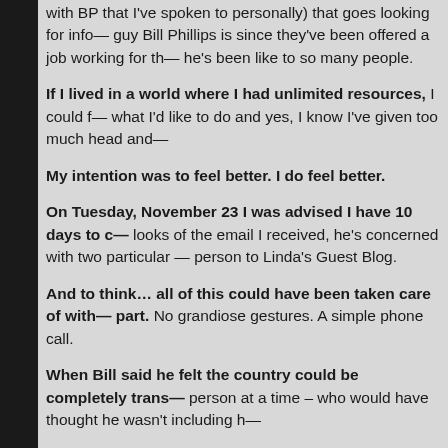with BP that I've spoken to personally) that goes looking for info— guy Bill Phillips is since they've been offered a job working for th— he's been like to so many people.
If I lived in a world where I had unlimited resources, I could f— what I'd like to do and yes, I know I've given too much head and—
My intention was to feel better.  I do feel better.
On Tuesday, November 23 I was advised I have 10 days to c— looks of the email I received, he's concerned with two particular — person to Linda's Guest Blog.
And to think… all of this could have been taken care of with— part. No grandiose gestures.  A simple phone call.
When Bill said he felt the country could be completely trans— person at a time – who would have thought he wasn't including h—